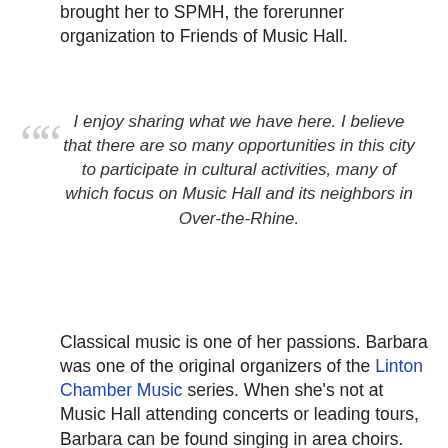brought her to SPMH, the forerunner organization to Friends of Music Hall.
I enjoy sharing what we have here. I believe that there are so many opportunities in this city to participate in cultural activities, many of which focus on Music Hall and its neighbors in Over-the-Rhine.
Classical music is one of her passions. Barbara was one of the original organizers of the Linton Chamber Music series. When she’s not at Music Hall attending concerts or leading tours, Barbara can be found singing in area choirs. She and her husband are members of the MLK Chorale, the Classical Roots Community Chorus, the May Festival Community Chorus, and their local...